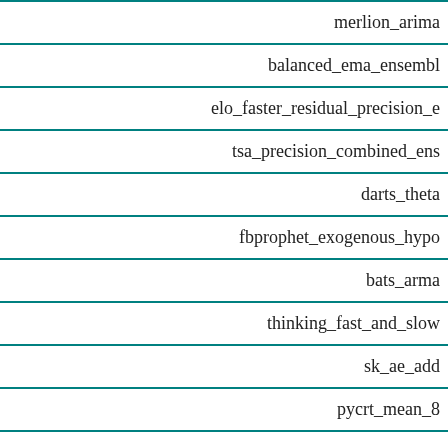| Model |
| --- |
| merlion_arima |
| balanced_ema_ensemble |
| elo_faster_residual_precision_e |
| tsa_precision_combined_ens |
| darts_theta |
| fbprophet_exogenous_hypo |
| bats_arma |
| thinking_fast_and_slow |
| sk_ae_add |
| pycrt_mean_8 |